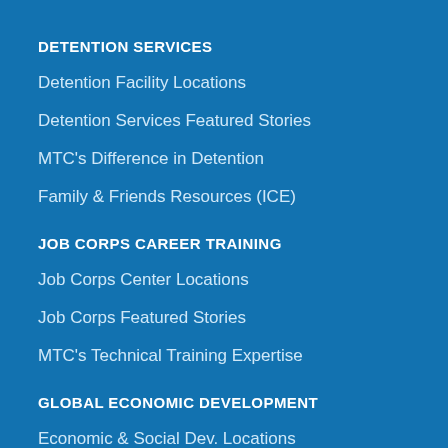DETENTION SERVICES
Detention Facility Locations
Detention Services Featured Stories
MTC's Difference in Detention
Family & Friends Resources (ICE)
JOB CORPS CAREER TRAINING
Job Corps Center Locations
Job Corps Featured Stories
MTC's Technical Training Expertise
GLOBAL ECONOMIC DEVELOPMENT
Economic & Social Dev. Locations
Expertise & Services
Egypt WISE
Economic & Social Dev. Featured Stories